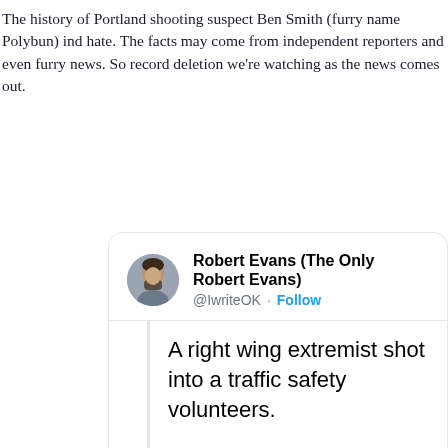The history of Portland shooting suspect Ben Smith (furry name Polybun) ind hate. The facts may come from independent reporters and even furry news. So record deletion we're watching as the news comes out.
[Figure (screenshot): Screenshot of a tweet by Robert Evans (The Only Robert Evans) @IwriteOK with a Follow button. Tweet text: 'A right wing extremist shot into a traffic safety volunteers. Portland mayor Ted Wheeler is police are actively trying to obsc while grifters like Andy Ngo atte this as left wing terrorism.' Contains a quoted tweet from SSDGK @dontgetkettled: 'We were unarmed traffic safety voluntee protestors. Four women trying to de-esc into us because he didn't like being asks']